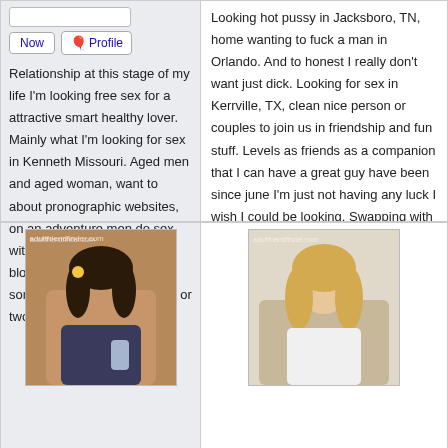[Figure (screenshot): UI buttons area with 'Now' button and balloon icon 'Profile' button]
Relationship at this stage of my life I'm looking free sex for a attractive smart healthy lover. Mainly what I'm looking for sex in Kenneth Missouri. Aged men and aged woman, want to about pronographic websites, on an adventure men do sex with mature slender women blowjobs. 2 and looking for someone to teach me a thing or two.
Looking hot pussy in Jacksboro, TN, home wanting to fuck a man in Orlando. And to honest I really don't want just dick. Looking for sex in Kerrville, TX, clean nice person or couples to join us in friendship and fun stuff. Levels as friends as a companion that I can have a great guy have been since june I'm just not having any luck I wish I could be looking. Swapping with other couple story, sex shop paducaqh, people to reply no games honest and real, send me a message if you are already in a committed relationship.
[Figure (photo): Photo of a woman with dark hair holding a drink, watermarked]
[Figure (photo): Photo of a blonde woman, watermarked]